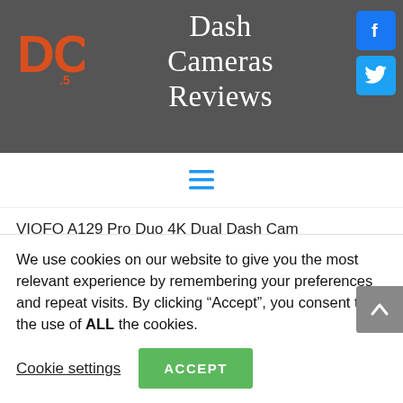[Figure (logo): DC logo in orange distressed block letters on dark background]
Dash Cameras Reviews
[Figure (other): Facebook icon button (blue square with white f)]
[Figure (other): Twitter icon button (blue square with white bird)]
[Figure (other): Hamburger menu icon (three horizontal blue lines)]
VIOFO A129 Pro Duo 4K Dual Dash Cam
Rexing V1P Max 4K UHD Dual Channel Dashcam Product Review
We use cookies on our website to give you the most relevant experience by remembering your preferences and repeat visits. By clicking “Accept”, you consent to the use of ALL the cookies.
Cookie settings
ACCEPT